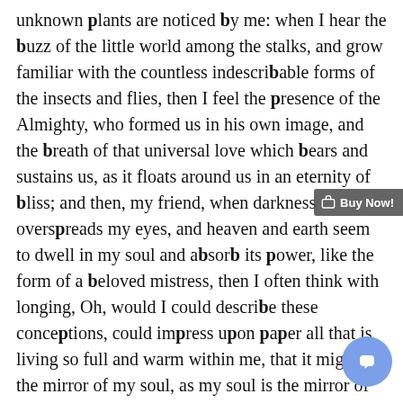unknown plants are noticed by me: when I hear the buzz of the little world among the stalks, and grow familiar with the countless indescribable forms of the insects and flies, then I feel the presence of the Almighty, who formed us in his own image, and the breath of that universal love which bears and sustains us, as it floats around us in an eternity of bliss; and then, my friend, when darkness overspreads my eyes, and heaven and earth seem to dwell in my soul and absorb its power, like the form of a beloved mistress, then I often think with longing, Oh, would I could describe these conceptions, could impress upon paper all that is living so full and warm within me, that it might be the mirror of my soul, as my soul is the mirror of the infinite God!